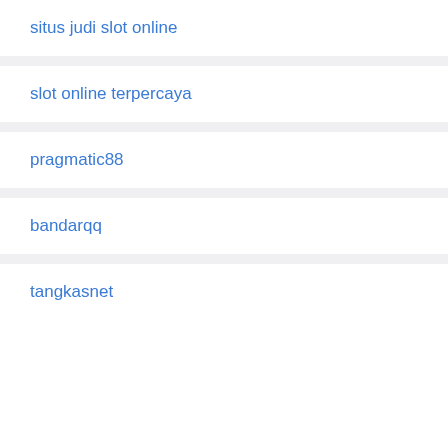situs judi slot online
slot online terpercaya
pragmatic88
bandarqq
tangkasnet